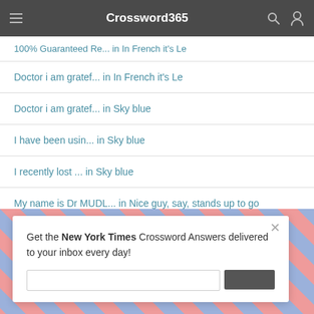Crossword365
100% Guaranteed Re... in In French it's Le
Doctor i am gratef... in In French it's Le
Doctor i am gratef... in Sky blue
I have been usin... in Sky blue
I recently lost ... in Sky blue
My name is Dr MUDL... in Nice guy, say, stands up to go
Get the New York Times Crossword Answers delivered to your inbox every day!